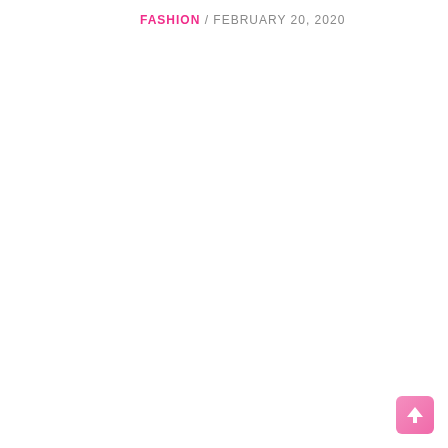FASHION / FEBRUARY 20, 2020
[Figure (other): Back to top button — pink rounded rectangle with white upward arrow]